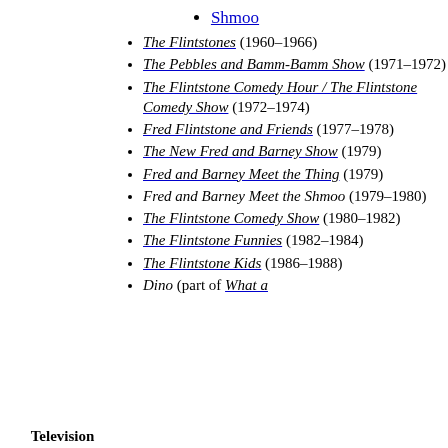Shmoo
The Flintstones (1960–1966)
The Pebbles and Bamm-Bamm Show (1971–1972)
The Flintstone Comedy Hour / The Flintstone Comedy Show (1972–1974)
Fred Flintstone and Friends (1977–1978)
The New Fred and Barney Show (1979)
Fred and Barney Meet the Thing (1979)
Fred and Barney Meet the Shmoo (1979–1980)
The Flintstone Comedy Show (1980–1982)
The Flintstone Funnies (1982–1984)
The Flintstone Kids (1986–1988)
Dino (part of What a
Television series